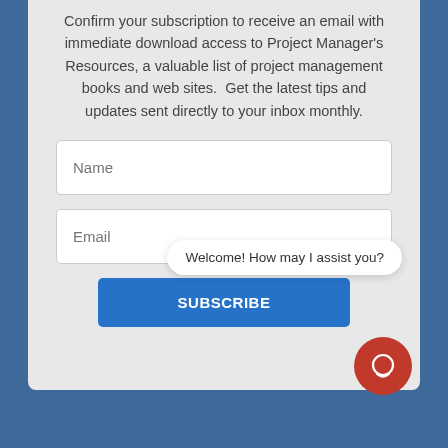Confirm your subscription to receive an email with immediate download access to Project Manager's Resources, a valuable list of project management books and web sites.  Get the latest tips and updates sent directly to your inbox monthly.
Name
Email
SUBSCRIBE
Welcome! How may I assist you?